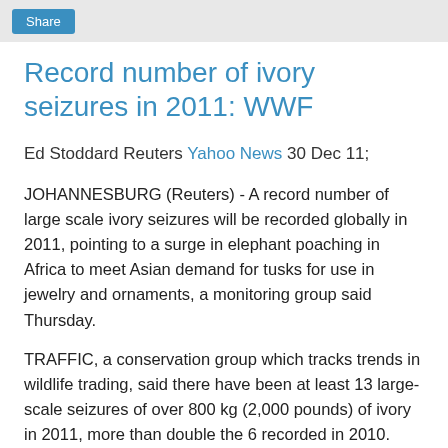Share
Record number of ivory seizures in 2011: WWF
Ed Stoddard Reuters Yahoo News 30 Dec 11;
JOHANNESBURG (Reuters) - A record number of large scale ivory seizures will be recorded globally in 2011, pointing to a surge in elephant poaching in Africa to meet Asian demand for tusks for use in jewelry and ornaments, a monitoring group said Thursday.
TRAFFIC, a conservation group which tracks trends in wildlife trading, said there have been at least 13 large-scale seizures of over 800 kg (2,000 pounds) of ivory in 2011, more than double the 6 recorded in 2010.
"A conservative estimate of the weight of ivory seized in the 13 largest seizures in 2011 puts the figure at more than 23 tonnes, far exceeding the threshold amount over 2,500